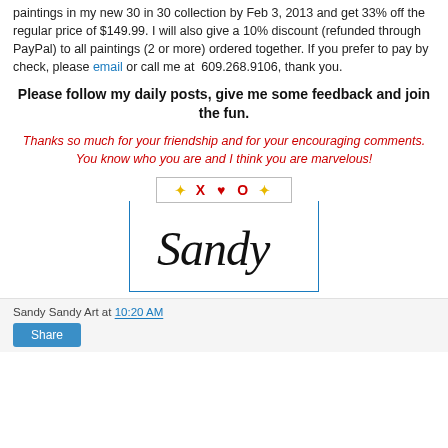paintings in my new 30 in 30 collection by Feb 3, 2013 and get 33% off the regular price of $149.99. I will also give a 10% discount (refunded through PayPal) to all paintings (2 or more) ordered together. If you prefer to pay by check, please email or call me at 609.268.9106, thank you.
Please follow my daily posts, give me some feedback and join the fun.
Thanks so much for your friendship and for your encouraging comments. You know who you are and I think you are marvelous!
[Figure (illustration): XO card with yellow sparkle symbols and red X heart O text, above a white box with Sandy cursive signature in black ink, bordered in blue at bottom]
Sandy Sandy Art at 10:20 AM
Share